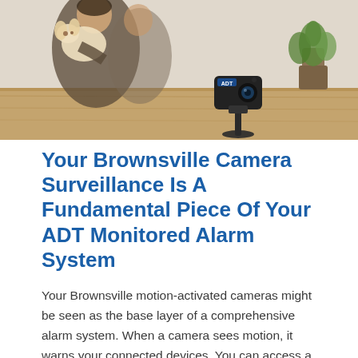[Figure (photo): A photo showing a family (people holding a stuffed dog/puppy) in the background on the left, and an ADT security camera sitting on a wooden surface on the right, with a plant in the background.]
Your Brownsville Camera Surveillance Is A Fundamental Piece Of Your ADT Monitored Alarm System
Your Brownsville motion-activated cameras might be seen as the base layer of a comprehensive alarm system. When a camera sees motion, it warns your connected devices. You can access a 30-second recording or live stream to determine if emergency personnel is required. If action is warranted, just send an alert to ADT monitoring, and a live